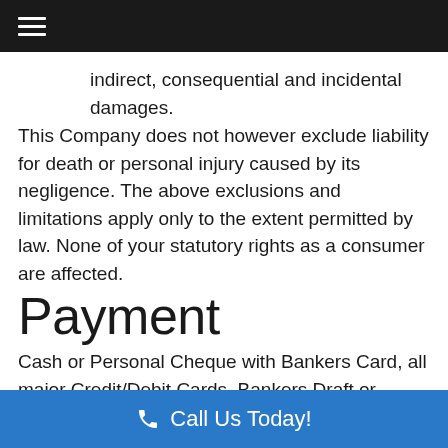≡
indirect, consequential and incidental damages.
This Company does not however exclude liability for death or personal injury caused by its negligence. The above exclusions and limitations apply only to the extent permitted by law. None of your statutory rights as a consumer are affected.
Payment
Cash or Personal Cheque with Bankers Card, all major Credit/Debit Cards, Bankers Draft or BACS Transfer are all acceptable methods of payment. Our Terms are payment in full within thirty days. All goods remain the property of the Company until paid for in full. Monies that remains
📞 Call Us Today!